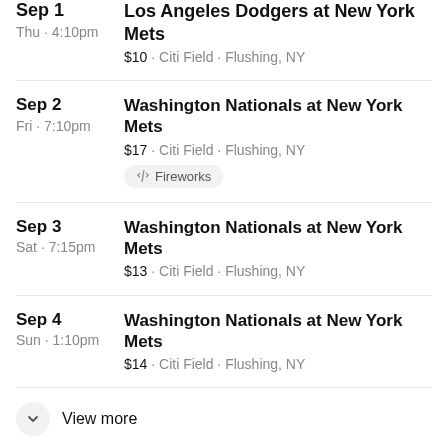Sep 1 · Thu · 4:10pm — Los Angeles Dodgers at New York Mets · $10 · Citi Field · Flushing, NY
Sep 2 · Fri · 7:10pm — Washington Nationals at New York Mets · $17 · Citi Field · Flushing, NY · Fireworks
Sep 3 · Sat · 7:15pm — Washington Nationals at New York Mets · $13 · Citi Field · Flushing, NY
Sep 4 · Sun · 1:10pm — Washington Nationals at New York Mets · $14 · Citi Field · Flushing, NY
View more